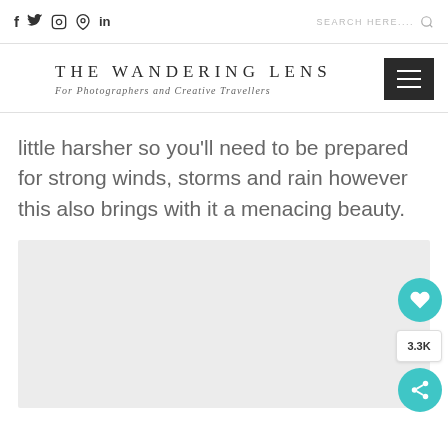f  🐦  ◎  𝕡  in   SEARCH HERE....  🔍
THE WANDERING LENS
For Photographers and Creative Travellers
little harsher so you'll need to be prepared for strong winds, storms and rain however this also brings with it a menacing beauty.
[Figure (photo): Light gray image placeholder area with teal heart and share floating action buttons on the right side showing 3.3K count]